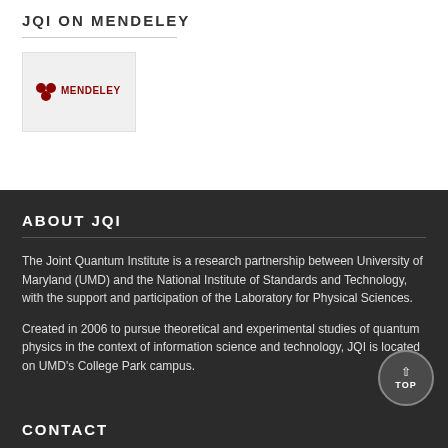JQI ON MENDELEY
[Figure (logo): Mendeley logo on light gray background]
ABOUT JQI
The Joint Quantum Institute is a research partnership between University of Maryland (UMD) and the National Institute of Standards and Technology, with the support and participation of the Laboratory for Physical Sciences.
Created in 2006 to pursue theoretical and experimental studies of quantum physics in the context of information science and technology, JQI is located on UMD's College Park campus.
CONTACT